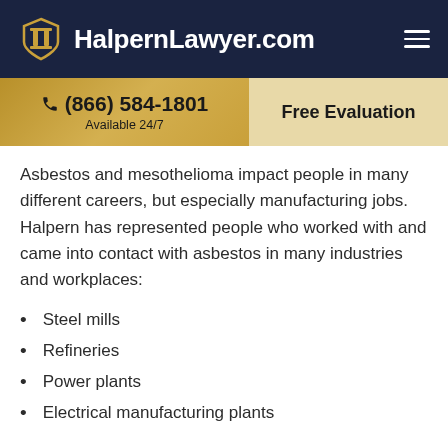HalpernLawyer.com
(866) 584-1801 Available 24/7 | Free Evaluation
Asbestos and mesothelioma impact people in many different careers, but especially manufacturing jobs. Halpern has represented people who worked with and came into contact with asbestos in many industries and workplaces:
Steel mills
Refineries
Power plants
Electrical manufacturing plants